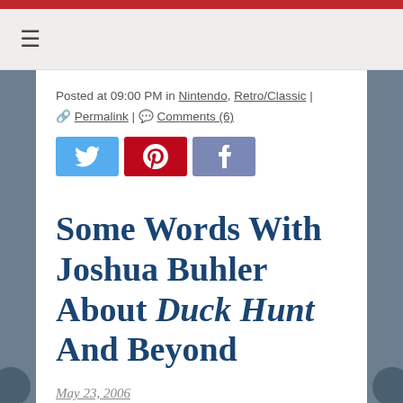≡
Posted at 09:00 PM in Nintendo, Retro/Classic | 🔗 Permalink | 💬 Comments (6)
[Figure (infographic): Social sharing buttons: Twitter (blue), Pinterest (red), Facebook (purple/grey)]
Some Words With Joshua Buhler About Duck Hunt And Beyond
May 23, 2006
You